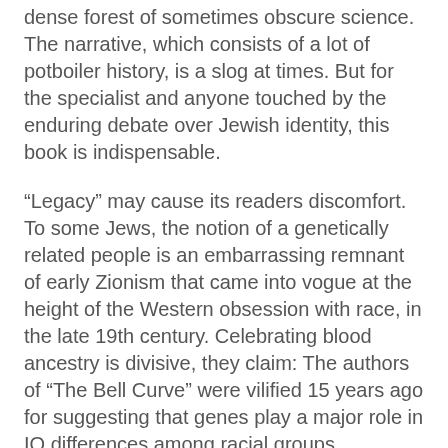dense forest of sometimes obscure science. The narrative, which consists of a lot of potboiler history, is a slog at times. But for the specialist and anyone touched by the enduring debate over Jewish identity, this book is indispensable.
“Legacy” may cause its readers discomfort. To some Jews, the notion of a genetically related people is an embarrassing remnant of early Zionism that came into vogue at the height of the Western obsession with race, in the late 19th century. Celebrating blood ancestry is divisive, they claim: The authors of “The Bell Curve” were vilified 15 years ago for suggesting that genes play a major role in IQ differences among racial groups.
Furthermore, sociologists and cultural anthropologists, a disproportionate number of whom are Jewish, ridicule the term “race,” claiming there are no meaningful differences between ethnic groups. For Jews, the word still carries the especially odious historical